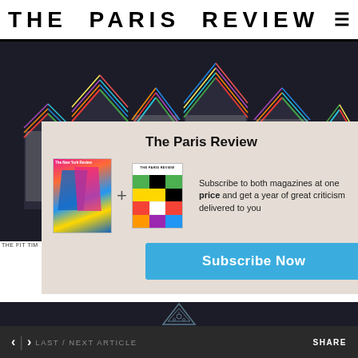THE PARIS REVIEW
[Figure (photo): Geometric art installation with colorful striped house/arrow shapes on dark background]
THE FIT TIM
[Figure (infographic): Modal subscription offer showing New York Review and The Paris Review magazine covers with plus sign between them]
The Paris Review
Subscribe to both magazines at one price and get a year of great criticism delivered to you
Subscribe Now
[Figure (illustration): Triangular geometric emblem/logo at bottom of page]
< > LAST / NEXT ARTICLE  SHARE